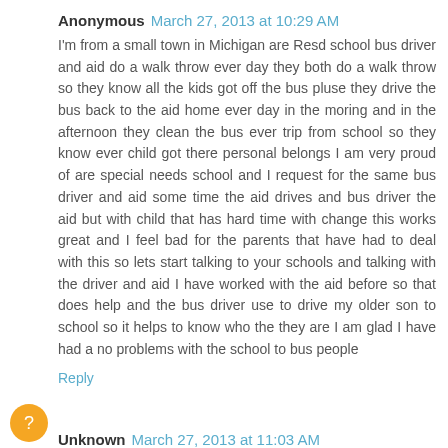Anonymous March 27, 2013 at 10:29 AM
I'm from a small town in Michigan are Resd school bus driver and aid do a walk throw ever day they both do a walk throw so they know all the kids got off the bus pluse they drive the bus back to the aid home ever day in the moring and in the afternoon they clean the bus ever trip from school so they know ever child got there personal belongs I am very proud of are special needs school and I request for the same bus driver and aid some time the aid drives and bus driver the aid but with child that has hard time with change this works great and I feel bad for the parents that have had to deal with this so lets start talking to your schools and talking with the driver and aid I have worked with the aid before so that does help and the bus driver use to drive my older son to school so it helps to know who the they are I am glad I have had a no problems with the school to bus people
Reply
Unknown March 27, 2013 at 11:03 AM